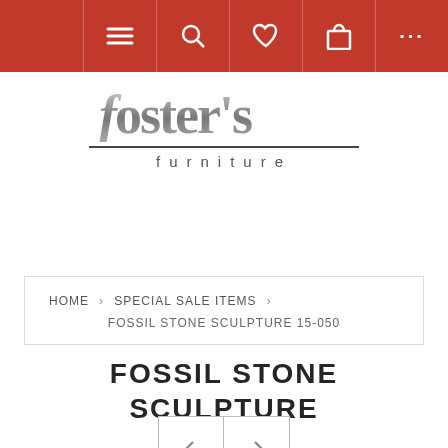Navigation bar with menu, search, wishlist, cart, and more icons
[Figure (logo): Foster's Furniture logo with stylized silver text and furniture written below in spaced lowercase letters]
HOME > SPECIAL SALE ITEMS > FOSSIL STONE SCULPTURE 15-050
FOSSIL STONE SCULPTURE 15-0505
[Figure (other): Previous and next navigation arrow buttons]